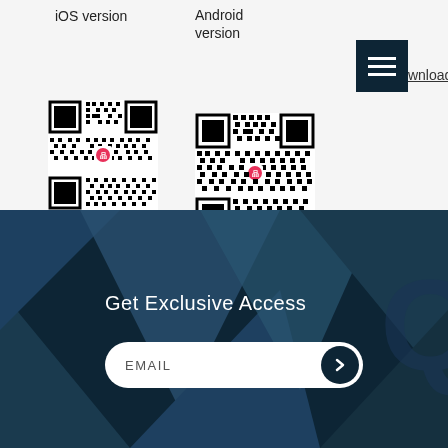iOS version
Android version
Download
[Figure (other): QR code for iOS app version download]
[Figure (other): QR code for Android app version download]
[Figure (other): Menu button icon with three horizontal lines on dark teal background]
[Figure (other): Dark teal geometric background with abstract triangle shapes and a large watermark logo]
Get Exclusive Access
EMAIL